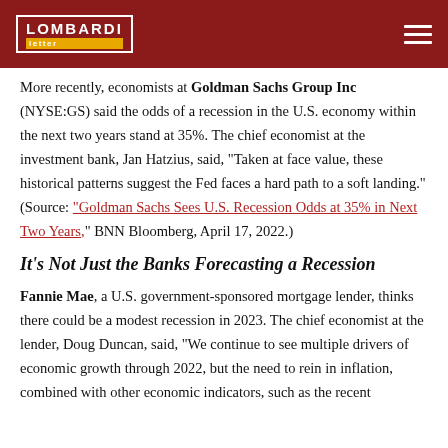LOMBARDI letter
More recently, economists at Goldman Sachs Group Inc (NYSE:GS) said the odds of a recession in the U.S. economy within the next two years stand at 35%. The chief economist at the investment bank, Jan Hatzius, said, “Taken at face value, these historical patterns suggest the Fed faces a hard path to a soft landing.” (Source: “Goldman Sachs Sees U.S. Recession Odds at 35% in Next Two Years,” BNN Bloomberg, April 17, 2022.)
It’s Not Just the Banks Forecasting a Recession
Fannie Mae, a U.S. government-sponsored mortgage lender, thinks there could be a modest recession in 2023. The chief economist at the lender, Doug Duncan, said, “We continue to see multiple drivers of economic growth through 2022, but the need to rein in inflation, combined with other economic indicators, such as the recent